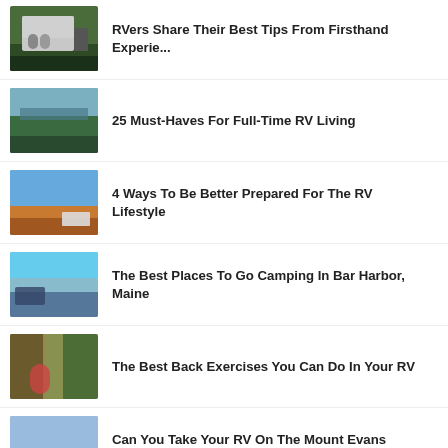[Figure (photo): RV with bicycles parked near trees]
RVers Share Their Best Tips From Firsthand Experie...
[Figure (photo): Scenic lake with forest and mountains]
25 Must-Haves For Full-Time RV Living
[Figure (photo): Wide open landscape with RV under blue sky]
4 Ways To Be Better Prepared For The RV Lifestyle
[Figure (photo): Harbor with water and shoreline]
The Best Places To Go Camping In Bar Harbor, Maine
[Figure (photo): Person reclining in hammock in woods]
The Best Back Exercises You Can Do In Your RV
[Figure (photo): Rocky mountain summit with sky]
Can You Take Your RV On The Mount Evans Scenic Byw...
[Figure (photo): Partial thumbnail at bottom of page]